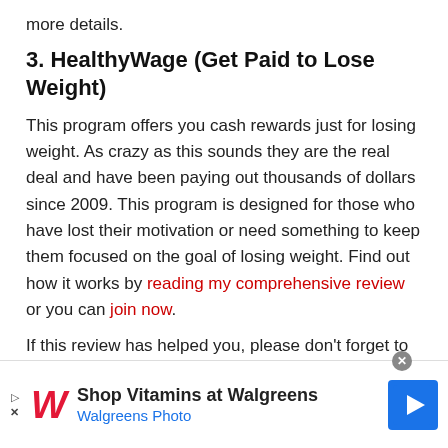more details.
3. HealthyWage (Get Paid to Lose Weight)
This program offers you cash rewards just for losing weight. As crazy as this sounds they are the real deal and have been paying out thousands of dollars since 2009. This program is designed for those who have lost their motivation or need something to keep them focused on the goal of losing weight. Find out how it works by reading my comprehensive review or you can join now.
If this review has helped you, please don't forget to share it with the relevant people you know. Also feel free
[Figure (advertisement): Walgreens advertisement banner: Shop Vitamins at Walgreens, Walgreens Photo, with Walgreens logo and navigation icon]